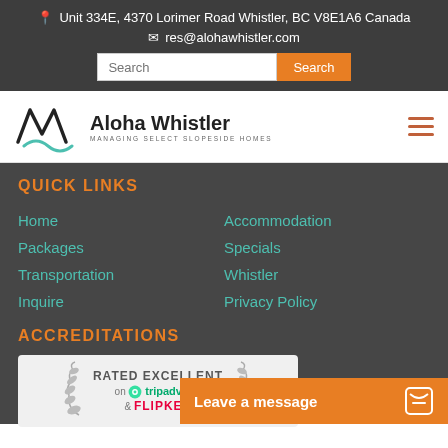Unit 334E, 4370 Lorimer Road Whistler, BC V8E1A6 Canada
res@alohawhistler.com
[Figure (logo): Aloha Whistler logo with stylized W and teal wave, text: Aloha Whistler - Managing Select Slopeside Homes]
QUICK LINKS
Home
Accommodation
Packages
Specials
Transportation
Whistler
Inquire
Privacy Policy
ACCREDITATIONS
[Figure (illustration): Rated Excellent badge with laurel leaves, on TripAdvisor & FlipKey logos]
Leave a message